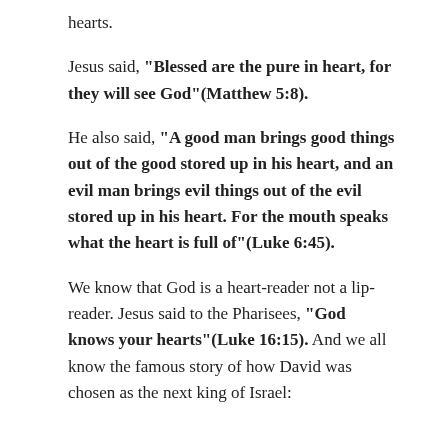hearts.
Jesus said, "Blessed are the pure in heart, for they will see God"(Matthew 5:8).
He also said, "A good man brings good things out of the good stored up in his heart, and an evil man brings evil things out of the evil stored up in his heart. For the mouth speaks what the heart is full of"(Luke 6:45).
We know that God is a heart-reader not a lip-reader. Jesus said to the Pharisees, "God knows your hearts"(Luke 16:15). And we all know the famous story of how David was chosen as the next king of Israel: